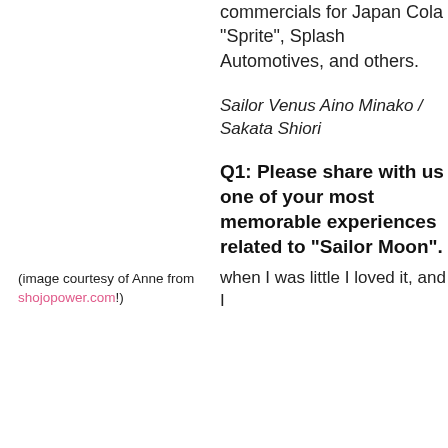commercials for Japan Cola "Sprite", Splash Automotives, and others.
(image courtesy of Anne from shojopower.com!)
Sailor Venus Aino Minako / Sakata Shiori
Q1: Please share with us one of your most memorable experiences related to "Sailor Moon".
when I was little I loved it, and I